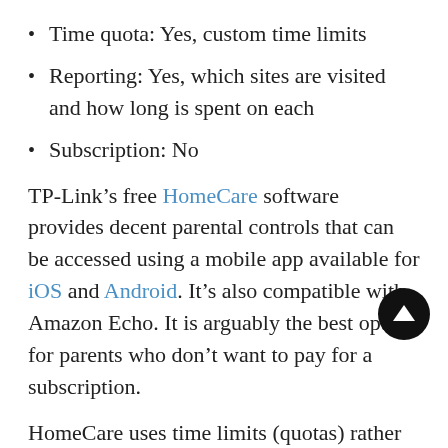Time quota: Yes, custom time limits
Reporting: Yes, which sites are visited and how long is spent on each
Subscription: No
TP-Link’s free HomeCare software provides decent parental controls that can be accessed using a mobile app available for iOS and Android. It’s also compatible with Amazon Echo. It is arguably the best option for parents who don’t want to pay for a subscription.
HomeCare uses time limits (quotas) rather than schedules. Different limits can be set for weekdays and weekends. A bedtime